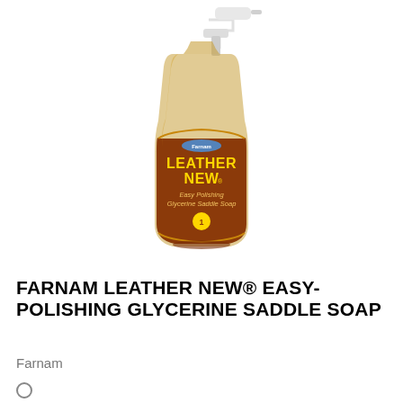[Figure (photo): A spray bottle of Farnam Leather New Easy-Polishing Glycerine Saddle Soap. The bottle is transparent showing amber/yellow liquid inside, with a brown label featuring yellow text reading LEATHER NEW, and a white trigger spray pump on top.]
FARNAM LEATHER NEW® EASY-POLISHING GLYCERINE SADDLE SOAP
Farnam